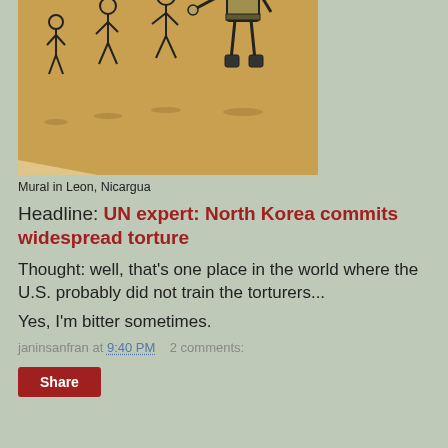[Figure (illustration): Sketch/drawing of figures in a scene – appears to show a guard or soldier with people, rendered as black ink on tan/brown background, photographed as a mural.]
Mural in Leon, Nicargua
Headline: UN expert: North Korea commits widespread torture
Thought: well, that's one place in the world where the U.S. probably did not train the torturers...
Yes, I'm bitter sometimes.
janinsanfran at 9:40 PM   2 comments:
Share